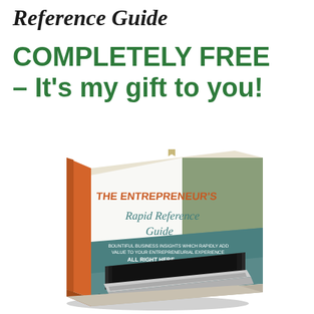Reference Guide
COMPLETELY FREE – It's my gift to you!
[Figure (illustration): 3D rendered book cover for 'The Entrepreneur's Rapid Reference Guide' showing a laptop on the cover with orange spine, teal/green and tan sections, subtitle text 'Bountiful Business Insights which Rapidly Add Value to Your Entrepreneurial Experience ALL RIGHT HERE', by Greg Hines - Founder of BizzyGrader.com]